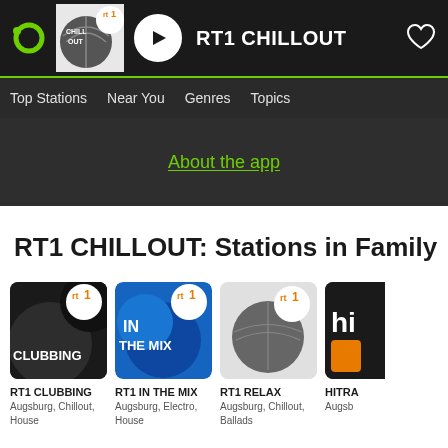[Figure (screenshot): Top navigation bar with RT1 CHILLOUT logo, play button, station name, and heart icon]
Top Stations   Near You   Genres   Topics
About the app
RT1 CHILLOUT: Stations in Family
[Figure (screenshot): RT1 CLUBBING station card with black logo]
RT1 CLUBBING
Augsburg, Chillout, House
[Figure (screenshot): RT1 IN THE MIX station card with blue background]
RT1 IN THE MIX
Augsburg, Electro, House
[Figure (screenshot): RT1 RELAX station card]
RT1 RELAX
Augsburg, Chillout, Ballads
[Figure (screenshot): HITRA station card partially visible]
HITRA
Augsb